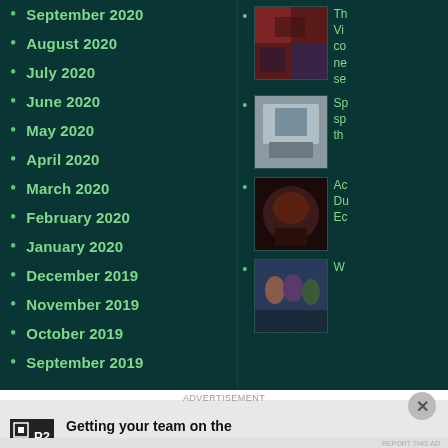September 2020
August 2020
July 2020
June 2020
May 2020
April 2020
March 2020
February 2020
January 2020
December 2019
November 2019
October 2019
September 2019
[Figure (photo): Thumbnail image 1 - dark fantasy/horror themed image]
Th Vi co ne se
[Figure (photo): Thumbnail image 2 - gray/blue box set or collector's edition]
Sp sp th
[Figure (photo): Thumbnail image 3 - dark creature/monster image]
Ac Du Ec
[Figure (photo): Thumbnail image 4 - group of people scene]
W
ADVERTISEMENT
[Figure (logo): P2 logo - black square with P2 text]
Getting your team on the same page is easy. And free.